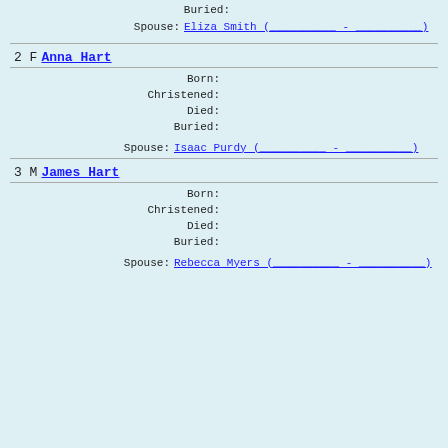Buried:
Spouse: Eliza Smith (          -          )
2 F Anna Hart
Born:
Christened:
Died:
Buried:
Spouse: Isaac Purdy (          -          )
3 M James Hart
Born:
Christened:
Died:
Buried:
Spouse: Rebecca Myers (          -          )